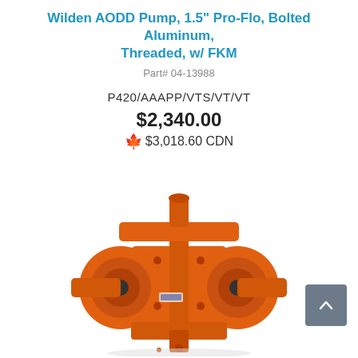Wilden AODD Pump, 1.5" Pro-Flo, Bolted Aluminum, Threaded, w/ FKM
Part# 04-13988
P420/AAAPP/VTS/VT/VT
$2,340.00
$3,018.60 CDN
[Figure (photo): Orange Wilden AODD pump 1.5 inch Pro-Flo bolted aluminum with FKM diaphragms, viewed from front showing dual pump chambers and inlet/outlet manifolds]